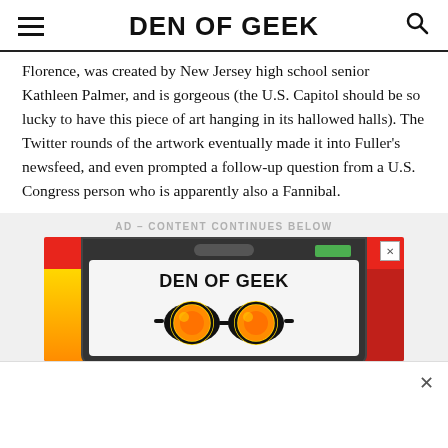DEN OF GEEK
Florence, was created by New Jersey high school senior Kathleen Palmer, and is gorgeous (the U.S. Capitol should be so lucky to have this piece of art hanging in its hallowed halls). The Twitter rounds of the artwork eventually made it into Fuller’s newsfeed, and even prompted a follow-up question from a U.S. Congress person who is apparently also a Fannibal.
AD – CONTENT CONTINUES BELOW
[Figure (screenshot): Den of Geek advertisement banner featuring a stylized phone graphic with the Den of Geek logo and psychedelic sunglasses, set against a red background with yellow/orange side accents.]